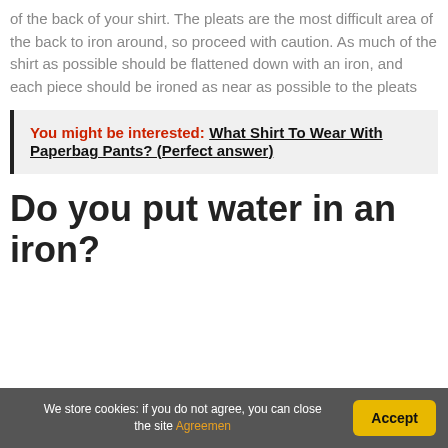of the back of your shirt. The pleats are the most difficult area of the back to iron around, so proceed with caution. As much of the shirt as possible should be flattened down with an iron, and each piece should be ironed as near as possible to the pleats
You might be interested: What Shirt To Wear With Paperbag Pants? (Perfect answer)
Do you put water in an iron?
We store cookies: if you do not agree, you can close the site Agreemen  Accept